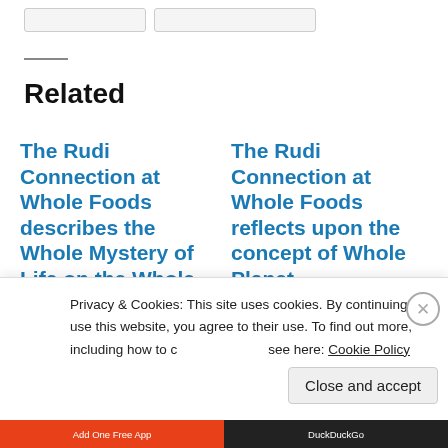Related
The Rudi Connection at Whole Foods describes the Whole Mystery of Life on the Whole Planet
The Rudi Connection at Whole Foods reflects upon the concept of Whole Planet
Privacy & Cookies: This site uses cookies. By continuing to use this website, you agree to their use. To find out more, including how to control cookies, see here: Cookie Policy
Close and accept